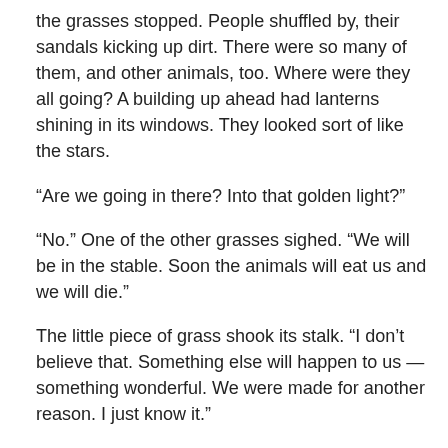the grasses stopped. People shuffled by, their sandals kicking up dirt. There were so many of them, and other animals, too. Where were they all going? A building up ahead had lanterns shining in its windows. They looked sort of like the stars.
“Are we going in there? Into that golden light?”
“No.” One of the other grasses sighed. “We will be in the stable. Soon the animals will eat us and we will die.”
The little piece of grass shook its stalk. “I don’t believe that. Something else will happen to us — something wonderful. We were made for another reason. I just know it.”
Then, a man gathered the grasses and spread them in a manager. “There. In the morning, the animals will have a